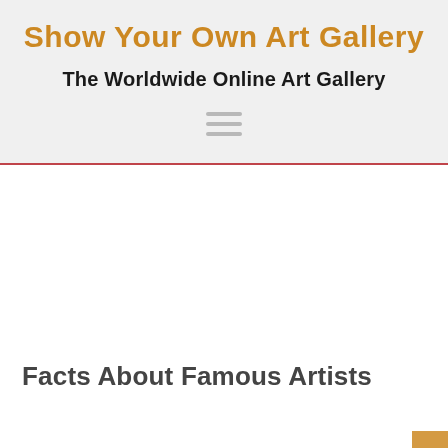Show Your Own Art Gallery
The Worldwide Online Art Gallery
[Figure (other): Hamburger menu icon with three horizontal lines]
Facts About Famous Artists